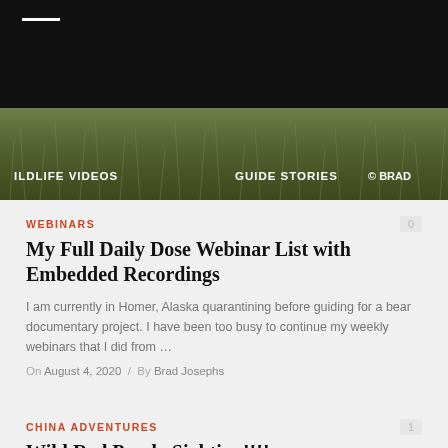[Figure (photo): Navigation bar with grass/nature background image, showing menu items 'ILDLIFE VIDEOS' and 'GUIDE STORIES' with copyright '© BRAD']
WEBINARS
My Full Daily Dose Webinar List with Embedded Recordings
I am currently in Homer, Alaska quarantining before guiding for a bear documentary project. I have been too busy to continue my weekly webinars that I did from …
On August 4, 2020 / By Brad Josephs
CHINA ADVENTURES
Wild Red Panda Sighting!!!!
For me, the trip highlight of my second Nat Hab China trip was seeing my first wild red panda!